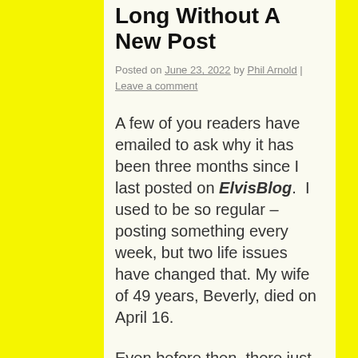Long Without A New Post
Posted on June 23, 2022 by Phil Arnold | Leave a comment
A few of you readers have emailed to ask why it has been three months since I last posted on ElvisBlog.  I used to be so regular – posting something every week, but two life issues have changed that. My wife of 49 years, Beverly, died on April 16.
Even before then, there just wasn't